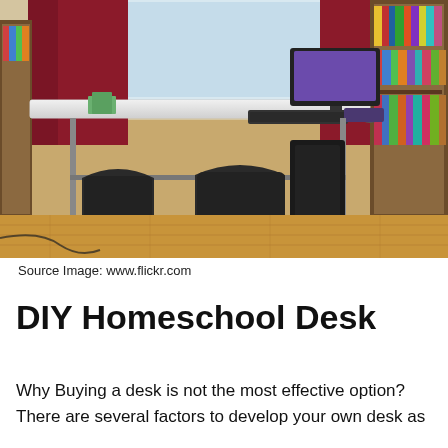[Figure (photo): A room with a white rectangular desk holding a computer monitor, keyboard, and mouse. Two black folding chairs in front of the desk. Bookshelf full of books and binders on the right. Red curtains on the windows in the background. Hardwood floor.]
Source Image: www.flickr.com
DIY Homeschool Desk
Why Buying a desk is not the most effective option? There are several factors to develop your own desk as